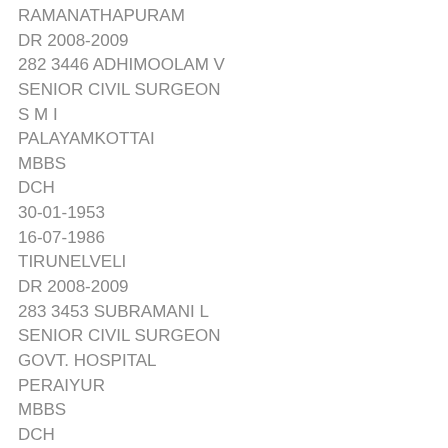RAMANATHAPURAM
DR 2008-2009
282 3446 ADHIMOOLAM V
SENIOR CIVIL SURGEON
S M I
PALAYAMKOTTAI
MBBS
DCH
30-01-1953
16-07-1986
TIRUNELVELI
DR 2008-2009
283 3453 SUBRAMANI L
SENIOR CIVIL SURGEON
GOVT. HOSPITAL
PERAIYUR
MBBS
DCH
10-06-1953
31-07-1986
MADURAI
DR 2008-2009
284 3457 KASIRAMAN S